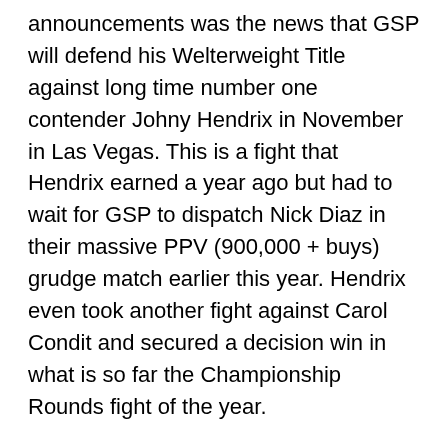announcements was the news that GSP will defend his Welterweight Title against long time number one contender Johny Hendrix in November in Las Vegas. This is a fight that Hendrix earned a year ago but had to wait for GSP to dispatch Nick Diaz in their massive PPV (900,000 + buys) grudge match earlier this year. Hendrix even took another fight against Carol Condit and secured a decision win in what is so far the Championship Rounds fight of the year.
GSP recently celebrated his fifth anniversary as Welterweight Champion and with a win over Hendrix he will have effectively cleaned out his division, again. That said, a win against Hendrix is by no means guaranteed.  Hendrix has an absolute hammer of a left hand which is his most dangerous weapon but he is also